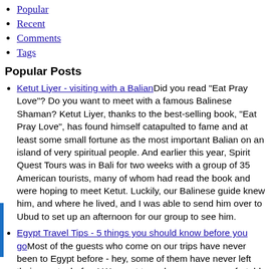Popular
Recent
Comments
Tags
Popular Posts
Ketut Liyer - visiting with a Balian Did you read "Eat Pray Love"? Do you want to meet with a famous Balinese Shaman? Ketut Liyer, thanks to the best-selling book, "Eat Pray Love", has found himself catapulted to fame and at least some small fortune as the most important Balian on an island of very spiritual people. And earlier this year, Spirit Quest Tours was in Bali for two weeks with a group of 35 American tourists, many of whom had read the book and were hoping to meet Ketut. Luckily, our Balinese guide knew him, and where he lived, and I was able to send him over to Ubud to set up an afternoon for our group to see him.
Egypt Travel Tips - 5 things you should know before you go Most of the guests who come on our trips have never been to Egypt before - hey, some of them have never left their country before! We want to make everyone comfortable and at ease, but we do always get the same questions in advance of a trip and after ten years, I thought this should be the first thing I address in my brand new blog!